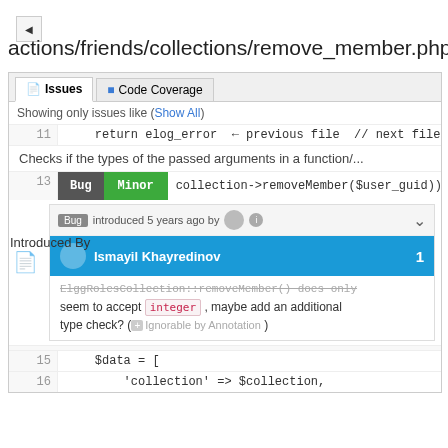actions/friends/collections/remove_member.php (1
Issues | Code Coverage
Showing only issues like (Show All)
11   return elog_error  ← previous file  // next file →
Checks if the types of the passed arguments in a function/...
13
Bug  Minor  collection->removeMember($user_guid)) {
Bug introduced 5 years ago by
Introduced By
It seems like $user_guid can also be of type
Ismayil Khayredinov  1
ElggRolesCollection::removeMember() does only seem to accept integer, maybe add an additional type check? ( Ignorable by Annotation )
15   $data = [
16   'collection' => $collection,